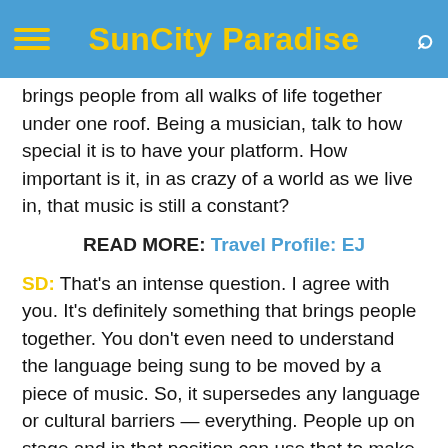SunCity Paradise
brings people from all walks of life together under one roof. Being a musician, talk to how special it is to have your platform. How important is it, in as crazy of a world as we live in, that music is still a constant?
READ MORE: Travel Profile: EJ
SD: That’s an intense question. I agree with you. It’s definitely something that brings people together. You don’t even need to understand the language being sung to be moved by a piece of music. So, it supersedes any language or cultural barriers — everything. People up on stage and in that position can use that to make an argument or statement, if that was part of your question.
Being someone that’s up on stage quite a bit, I used to say more of what I thought of things going on in the world, but lately I have just pulled myself back from inserting any opinions into anything. I’ll encode my messages into the music and lyrics, but we’re living in a day and age when people